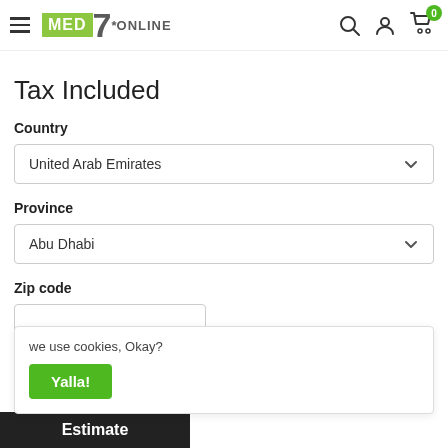[Figure (logo): MED7* ONLINE logo with green background for MED and large grey 7 with asterisk and ONLINE text]
Tax Included
Country
United Arab Emirates
Province
Abu Dhabi
Zip code
we use cookies, Okay?
Yalla!
Estimate